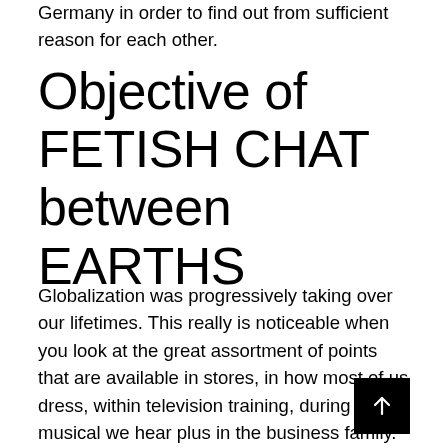Germany in order to find out from sufficient reason for each other.
Objective of FETISH CHAT between EARTHS
Globalization was progressively taking over our lifetimes. This really is noticeable when you look at the great assortment of points that are available in stores, in how most of us dress, within television training, during the musical we hear plus in the business family. It enables folks of different beginning